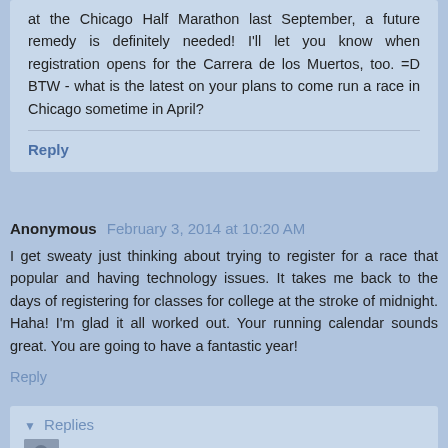at the Chicago Half Marathon last September, a future remedy is definitely needed! I'll let you know when registration opens for the Carrera de los Muertos, too. =D BTW - what is the latest on your plans to come run a race in Chicago sometime in April?
Reply
Anonymous  February 3, 2014 at 10:20 AM
I get sweaty just thinking about trying to register for a race that popular and having technology issues. It takes me back to the days of registering for classes for college at the stroke of midnight. Haha! I'm glad it all worked out. Your running calendar sounds great. You are going to have a fantastic year!
Reply
Replies
emmers712  February 3, 2014 at 2:45 PM